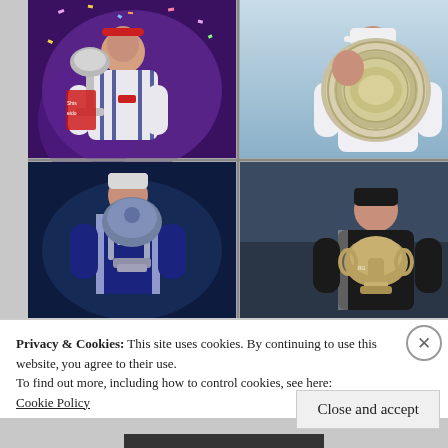[Figure (photo): 2x2 grid of photos showing a tennis player (Ash Barty) holding trophies: top-left WTA Finals trophy with confetti and purple background, top-right Wimbledon Venus Rosewater Dish plate, bottom-left Australian Open Daphne Akhurst Memorial Cup, bottom-right Roland Garros trophy]
Privacy & Cookies: This site uses cookies. By continuing to use this website, you agree to their use.
To find out more, including how to control cookies, see here:
Cookie Policy
Close and accept